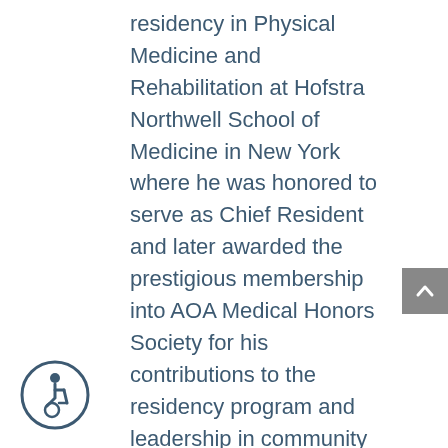residency in Physical Medicine and Rehabilitation at Hofstra Northwell School of Medicine in New York where he was honored to serve as Chief Resident and later awarded the prestigious membership into AOA Medical Honors Society for his contributions to the residency program and leadership in community service.
Dr. Trinh returned to his home state of California to complete his fellowship training in Pain Management at Loma Linda School of Medicine. He has published numerous pain management journal articles as well as book chapters in pain management textbooks. He is an award recipient for best podium presentation at both New York/New Jersey Society of Interventional Pain Physicians Symposium and Hofstra School of Medicine